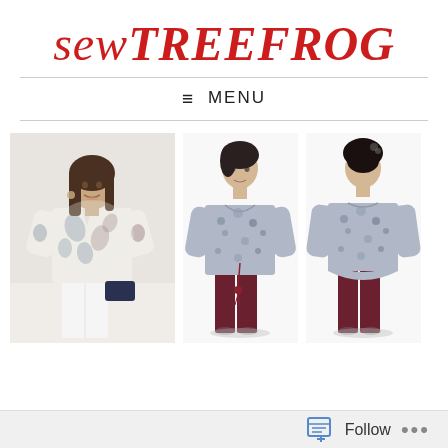sewTREEFROG
≡ MENU
[Figure (photo): Photo of a woman wearing a white and paisley print blouse with 3/4 sleeves and white trousers, holding a small navy clutch.]
[Figure (illustration): Fashion illustration showing front view of a woman wearing a blue floral print blouse with dark red trousers.]
[Figure (illustration): Fashion illustration showing back view of a woman wearing a blue floral print blouse with dark red trousers.]
Follow ...